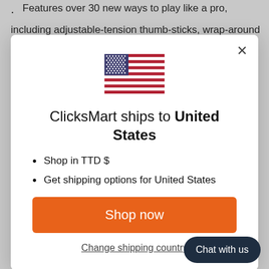· Features over 30 new ways to play like a pro,
including adjustable-tension thumb-sticks, wrap-around
[Figure (screenshot): A modal dialog box from ClicksMart e-commerce website showing shipping destination. Contains a US flag icon, title 'ClicksMart ships to United States', bullet points listing 'Shop in TTD $' and 'Get shipping options for United States', an orange 'Shop now' button, and a 'Change shipping country' link.]
Change shipping country
Chat with us